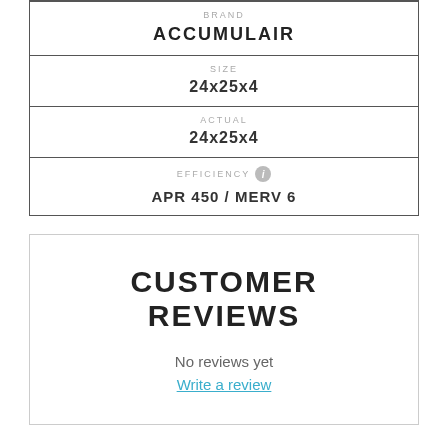| BRAND | SIZE | ACTUAL | EFFICIENCY |
| --- | --- | --- | --- |
| ACCUMULAIR |
| 24x25x4 |
| 24x25x4 |
| APR 450 / MERV 6 |
CUSTOMER REVIEWS
No reviews yet
Write a review